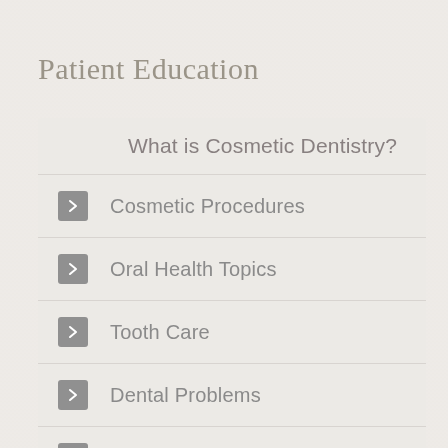Patient Education
What is Cosmetic Dentistry?
Cosmetic Procedures
Oral Health Topics
Tooth Care
Dental Problems
Treatment
Pain Management